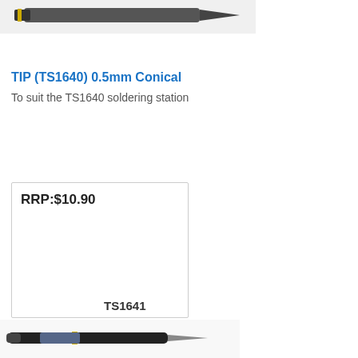[Figure (photo): Partial image of a soldering tip at the top of the page]
TIP (TS1640) 0.5mm Conical
To suit the TS1640 soldering station
RRP:$10.90
TS1641
[Figure (photo): Partial image of a soldering iron at the bottom of the page]